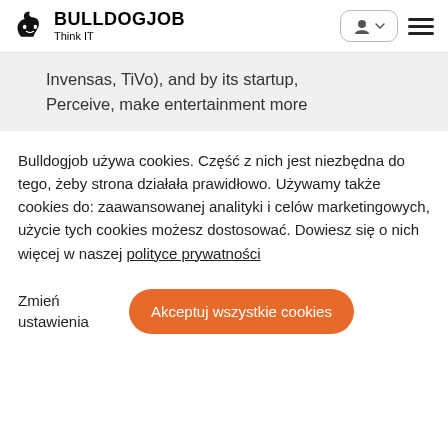BULLDOGJOB Think IT
Invensas, TiVo), and by its startup, Perceive, make entertainment more
Bulldogjob używa cookies. Część z nich jest niezbędna do tego, żeby strona działała prawidłowo. Używamy także cookies do: zaawansowanej analityki i celów marketingowych, użycie tych cookies możesz dostosować. Dowiesz się o nich więcej w naszej polityce prywatności
Zmień ustawienia
Akceptuj wszystkie cookies